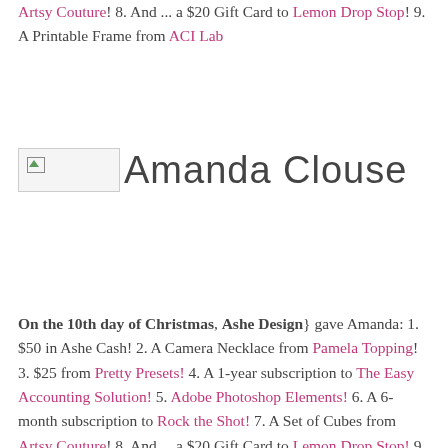Artsy Couture! 8. And ... a $20 Gift Card to Lemon Drop Stop! 9. A Printable Frame from ACI Lab
[Figure (photo): Broken image placeholder followed by author name 'Amanda Clouse']
On the 10th day of Christmas, Ashe Design} gave Amanda: 1. $50 in Ashe Cash! 2. A Camera Necklace from Pamela Topping! 3. $25 from Pretty Presets! 4. A 1-year subscription to The Easy Accounting Solution! 5. Adobe Photoshop Elements! 6. A 6-month subscription to Rock the Shot! 7. A Set of Cubes from Artsy Couture! 8. And ... a $20 Gift Card to Lemon Drop Stop! 9. A Printable Frame from ACI Lab! 10. A 6-month subscription to Album